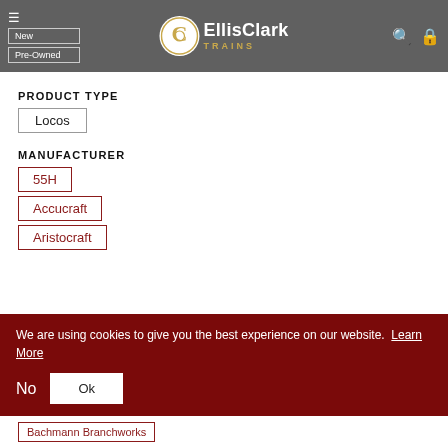[Figure (logo): EllisClark Trains logo with circular emblem on grey navigation bar, with New and Pre-Owned navigation buttons, hamburger menu, search and cart icons]
PRODUCT TYPE
Locos
MANUFACTURER
55H
Accucraft
Aristocraft
We are using cookies to give you the best experience on our website. Learn More
No  Ok
Bachmann Branchworks